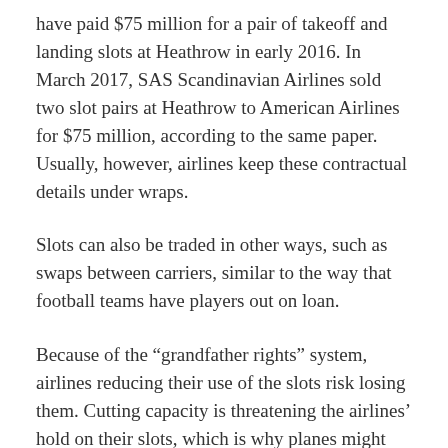have paid $75 million for a pair of takeoff and landing slots at Heathrow in early 2016. In March 2017, SAS Scandinavian Airlines sold two slot pairs at Heathrow to American Airlines for $75 million, according to the same paper. Usually, however, airlines keep these contractual details under wraps.
Slots can also be traded in other ways, such as swaps between carriers, similar to the way that football teams have players out on loan.
Because of the “grandfather rights” system, airlines reducing their use of the slots risk losing them. Cutting capacity is threatening the airlines’ hold on their slots, which is why planes might still be operated even when hardly anyone is flying in them.